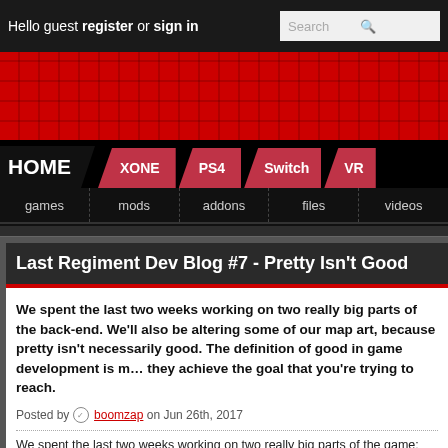Hello guest register or sign in | Search
[Figure (screenshot): Red banner with grid pattern navigation area]
HOME | XONE | PS4 | Switch | VR
games | mods | addons | files | videos
Last Regiment Dev Blog #7 - Pretty Isn't Good
We spent the last two weeks working on two really big parts of the back-end. We'll also be altering some of our map art, because pretty isn't necessarily good. The definition of good in game development is making sure they achieve the goal that you're trying to reach.
Posted by boomzap on Jun 26th, 2017
We spent the last two weeks working on two really big parts of the game: the ga
[Figure (screenshot): Boomzap logo with text: Last Regiment - Dev Blog #7: Pretty isn't Good]